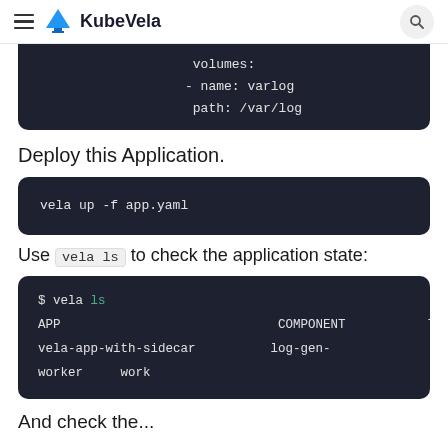KubeVela
[Figure (screenshot): Code block showing YAML volumes configuration: volumes: - name: varlog path: /var/log]
Deploy this Application.
[Figure (screenshot): Code block showing command: vela up -f app.yaml]
Use vela ls to check the application state:
[Figure (screenshot): Code block showing: $ vela ls
APP   COMPONENT   TYPE
vela-app-with-sidecar   log-gen-worker   work...]
And check the...